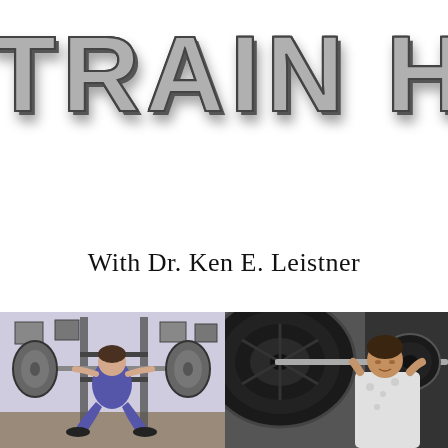TRAIN HAR
With Dr. Ken E. Leistner
[Figure (photo): Color photo of a person performing a barbell squat inside a gym with a squat rack, weight plates visible on both sides of the bar]
[Figure (photo): Black and white photo of a person holding a heavily loaded barbell overhead or on shoulders, large weight plates close up in foreground]